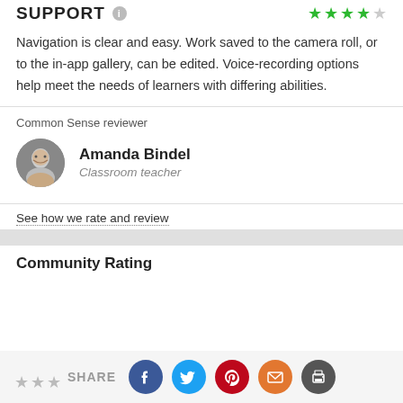SUPPORT
Navigation is clear and easy. Work saved to the camera roll, or to the in-app gallery, can be edited. Voice-recording options help meet the needs of learners with differing abilities.
Common Sense reviewer
Amanda Bindel
Classroom teacher
See how we rate and review
Community Rating
SHARE